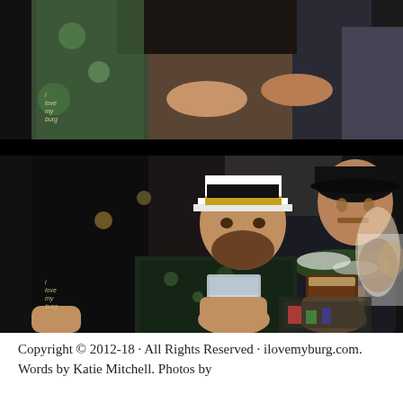[Figure (photo): Two men at an indoor event holding up beer glasses toward the camera in a toast. The man on the left wears a white captain's hat and a dark floral Hawaiian shirt; the man on the right wears a black baseball cap and a flower lei. In the top portion of the image, partially visible figures of other people can be seen. A watermark reading 'i love my burg' appears in the lower-left corner of each photo section. The images are stacked vertically with a black bar between them.]
Copyright © 2012-18 · All Rights Reserved · ilovemyburg.com. Words by Katie Mitchell. Photos by